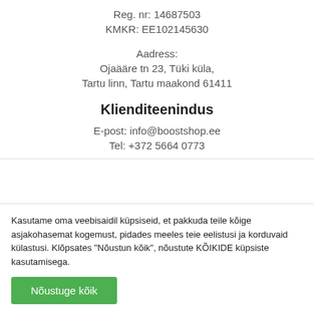Reg. nr: 14687503
KMKR: EE102145630
Aadress:
Ojaääre tn 23, Tüki küla,
Tartu linn, Tartu maakond 61411
Klienditeenindus
E-post: info@boostshop.ee
Tel: +372 5664 0773
Kasutame oma veebisaidil küpsiseid, et pakkuda teile kõige asjakohasemat kogemust, pidades meeles teie eelistusi ja korduvaid külastusi. Klõpsates "Nõustun kõik", nõustute KÕIKIDE küpsiste kasutamisega.
Nõustuge kõik